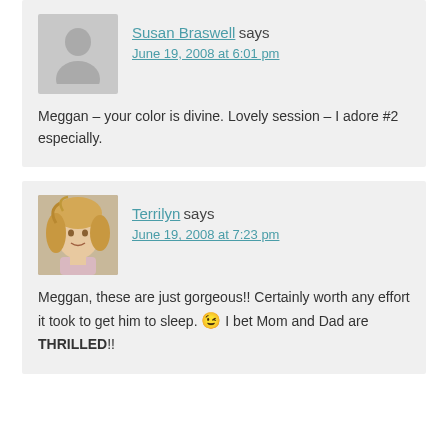Susan Braswell says
June 19, 2008 at 6:01 pm
Meggan – your color is divine. Lovely session – I adore #2 especially.
Terrilyn says
June 19, 2008 at 7:23 pm
Meggan, these are just gorgeous!! Certainly worth any effort it took to get him to sleep. 😉 I bet Mom and Dad are THRILLED!!